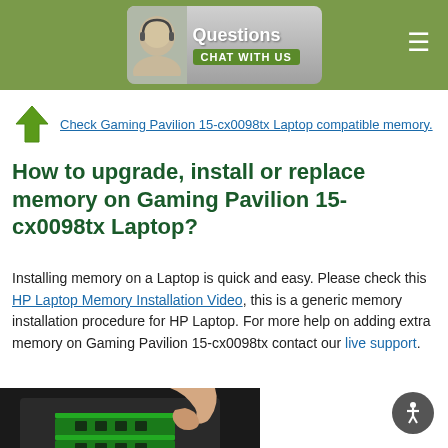Questions - CHAT WITH US (header banner with chat support)
Check Gaming Pavilion 15-cx0098tx Laptop compatible memory.
How to upgrade, install or replace memory on Gaming Pavilion 15-cx0098tx Laptop?
Installing memory on a Laptop is quick and easy. Please check this HP Laptop Memory Installation Video, this is a generic memory installation procedure for HP Laptop. For more help on adding extra memory on Gaming Pavilion 15-cx0098tx contact our live support.
[Figure (photo): Hand pointing at RAM memory modules installed in a laptop, showing the memory slot area of an open laptop bottom panel]